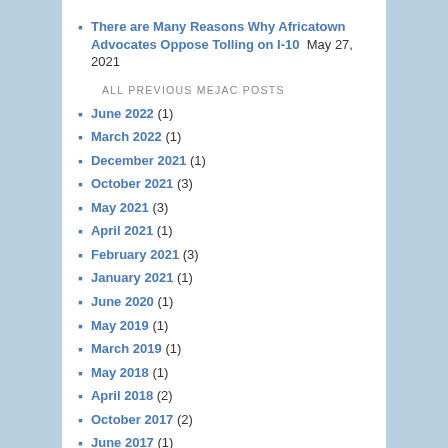There are Many Reasons Why Africatown Advocates Oppose Tolling on I-10  May 27, 2021
ALL PREVIOUS MEJAC POSTS
June 2022 (1)
March 2022 (1)
December 2021 (1)
October 2021 (3)
May 2021 (3)
April 2021 (1)
February 2021 (3)
January 2021 (1)
June 2020 (1)
May 2019 (1)
March 2019 (1)
May 2018 (1)
April 2018 (2)
October 2017 (2)
June 2017 (1)
March 2017 (1)
March 2016 (1)